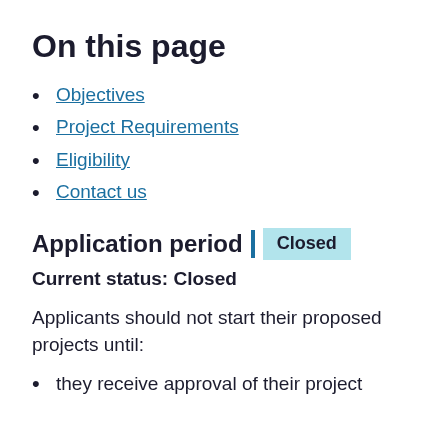On this page
Objectives
Project Requirements
Eligibility
Contact us
Application period | Closed
Current status: Closed
Applicants should not start their proposed projects until:
they receive approval of their project from Employment and Social...